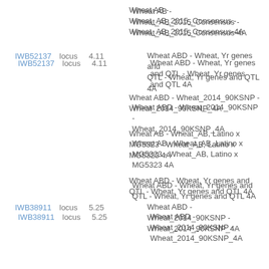Wheat AB - Wheat_AB_2015_Consensus - Wheat_AB_2015_Consensus-4A
IWB52137  locus  4.11  Wheat ABD - Wheat, Yr genes and QTL - Wheat, Yr genes and QTL 4A
Wheat ABD - Wheat_2014_90KSNP - Wheat_2014_90KSNP_4A
Wheat AB - Wheat_AB, Latino x MG5323 - Wheat_AB, Latino x MG5323 4A
Wheat ABD - Wheat, Yr genes and QTL - Wheat, Yr genes and QTL 4A
IWB38911  locus  5.25  Wheat ABD - Wheat_2014_90KSNP - Wheat_2014_90KSNP_4A
Wheat ABD - Wheat_2014_90KSNP - Wheat_2014_90KSNP_4A
IWB67708  locus  5.95  Wheat ABD - Wheat, Yr genes and QTL - Wheat, Yr genes and QTL 4A